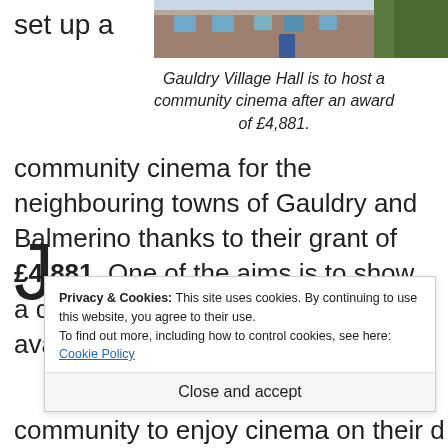set up a
[Figure (photo): Photograph of Gauldry Village Hall, a stone building with windows and green foliage]
Gauldry Village Hall is to host a community cinema after an award of £4,881.
community cinema for the neighbouring towns of Gauldry and Balmerino thanks to their grant of £4,881. One of the aims is to show a diversity of films not always available in mainstream cinemas.
J
Privacy & Cookies: This site uses cookies. By continuing to use this website, you agree to their use.
To find out more, including how to control cookies, see here:
Cookie Policy
Close and accept
community to enjoy cinema on their doorstep